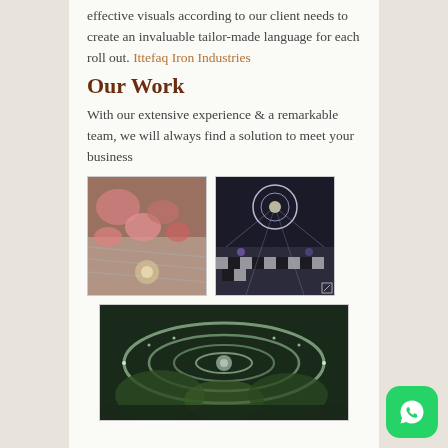effective visuals according to our client needs to create an invaluable tailor-made language for each roll out. Ittefaq Iron Industries
Our Work
With our extensive experience & a remarkable team, we will always find a solution to meet your business
[Figure (photo): Floral-decorated staircase with pink flowers and chandeliers in an ornate venue]
[Figure (photo): Elegant event venue with dramatic lighting, circular chandelier structure, and checkered floor]
[Figure (photo): Large illuminated circular chandelier or decorative installation from below]
[Figure (logo): WhatsApp icon button in green rounded square]